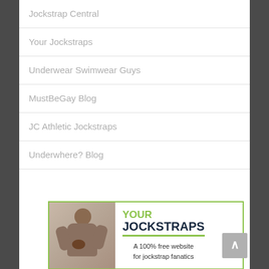Jockstrap Central
Your Jockstraps
Underwear Swimwear Guys
MustBeGay Blog
JC Athletic Jockstraps
Underwhere? Blog
[Figure (illustration): Advertisement banner for Your Jockstraps website showing a man holding a football with text 'YOUR JOCKSTRAPS' and 'A 100% free website for jockstrap fanatics']